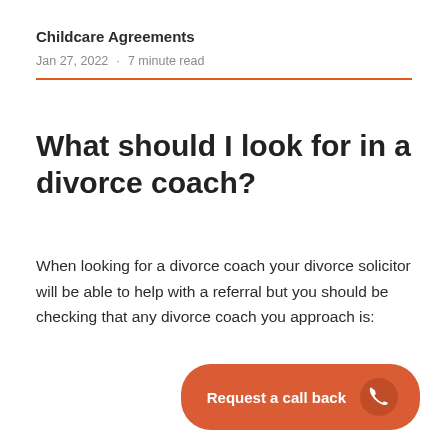Childcare Agreements
Jan 27, 2022  ·  7 minute read
What should I look for in a divorce coach?
When looking for a divorce coach your divorce solicitor will be able to help with a referral but you should be checking that any divorce coach you approach is: